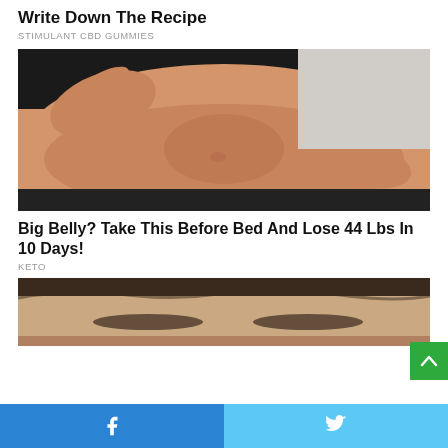Write Down The Recipe
STIMULANT CBD GUMMIES
[Figure (photo): Person pinching belly fat with both hands, wearing black clothing, close-up photo of abdominal area]
Big Belly? Take This Before Bed And Lose 44 Lbs In 10 Days!
KETO
[Figure (photo): Close-up of a person's forehead and eyebrows, partially visible]
Facebook share button | Twitter share button